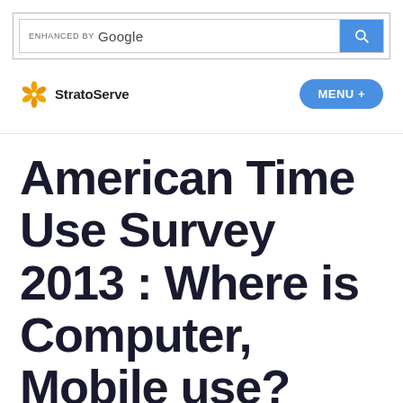[Figure (screenshot): Google search bar with 'ENHANCED BY Google' text and blue search button with magnifying glass icon]
[Figure (logo): StratoServe logo: orange gear/flower icon with 'StratoServe' text, and blue 'MENU +' button on the right]
American Time Use Survey 2013 : Where is Computer, Mobile use?